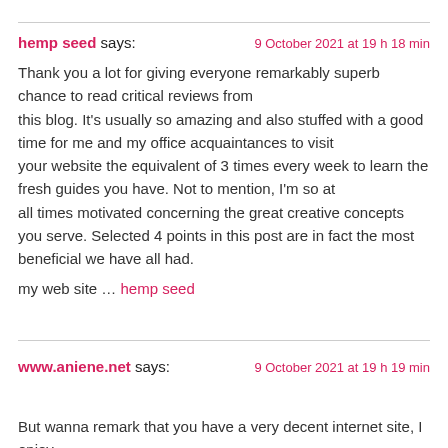hemp seed says:    9 October 2021 at 19 h 18 min
Thank you a lot for giving everyone remarkably superb chance to read critical reviews from this blog. It's usually so amazing and also stuffed with a good time for me and my office acquaintances to visit your website the equivalent of 3 times every week to learn the fresh guides you have. Not to mention, I'm so at all times motivated concerning the great creative concepts you serve. Selected 4 points in this post are in fact the most beneficial we have all had.
my web site … hemp seed
www.aniene.net says:    9 October 2021 at 19 h 19 min
But wanna remark that you have a very decent internet site, I enjoy